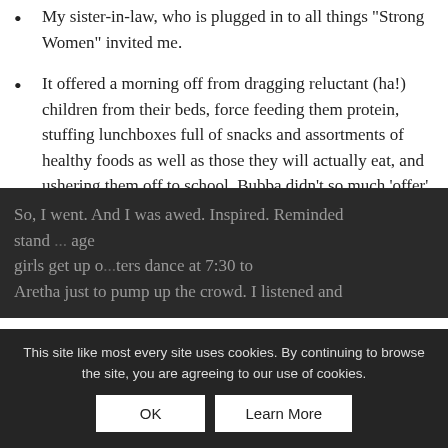My sister-in-law, who is plugged in to all things “Strong Women” invited me.
It offered a morning off from dragging reluctant (ha!) children from their beds, force feeding them protein, stuffing lunchboxes full of snacks and assortments of healthy foods as well as those they will actually eat, and ushering them off to school. Bubba didn’t so much ‘offer’ to do it as show up when ordered to do it.
So, I went. And I was awed. Inspired. Reminded stand ... age girls get up o... ters dance at 7:30 to Aretha just to pump up the crowd. I listened and
This site like most every site uses cookies. By continuing to browse the site, you are agreeing to our use of cookies.